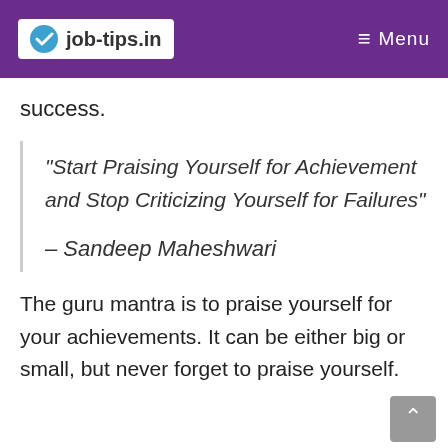job-tips.in   Menu
success.
“Start Praising Yourself for Achievement and Stop Criticizing Yourself for Failures”
– Sandeep Maheshwari
The guru mantra is to praise yourself for your achievements. It can be either big or small, but never forget to praise yourself.